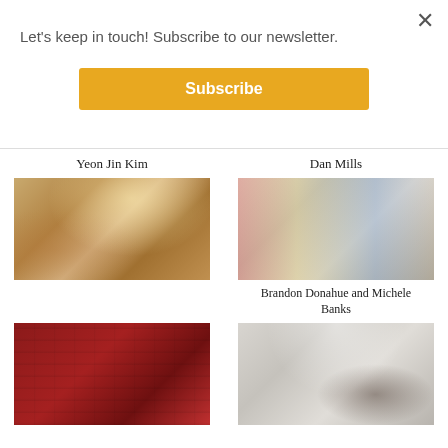Let's keep in touch! Subscribe to our newsletter.
×
Subscribe
Yeon Jin Kim
[Figure (photo): Gallery interior with hanging sculptural elements, warm wood floors, white walls with artwork]
Dan Mills
[Figure (photo): Gallery interior with colorful artworks on wall, white sculpture in center, paintings on right wall]
Brandon Donahue and Michele Banks
[Figure (photo): Gallery with red walls displaying grid of small framed works and drawings]
[Figure (photo): Open gallery space with large white panel, colorful artworks on left wall, dark sculpture on floor]